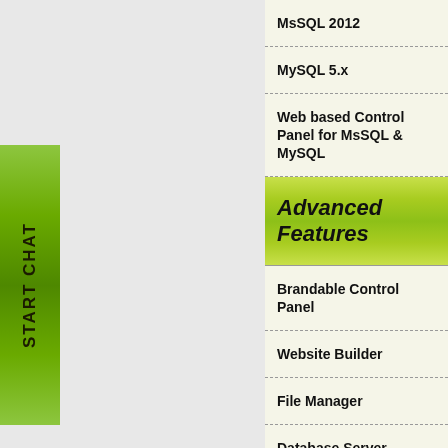[Figure (other): START CHAT vertical button on left side, green gradient background]
MsSQL 2012
MySQL 5.x
Web based Control Panel for MsSQL & MySQL
Advanced Features
Brandable Control Panel
Website Builder
File Manager
Database Server Selection
Web Statistics
DNS Settings
Web Hosting Access